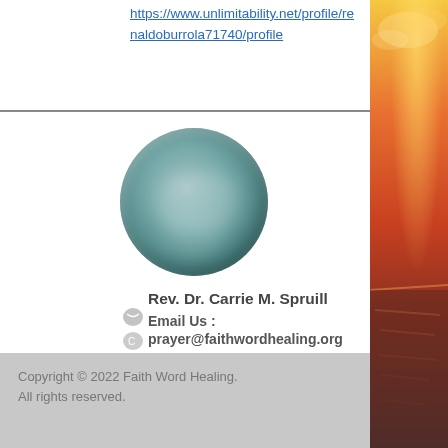https://www.unlimitability.net/profile/renaldoburrola71740/profile
[Figure (photo): Circular profile photo with blurred teal/grey appearance, likely a blurred person photo with bluish-green tones]
Rev. Dr. Carrie M. Spruill
Email Us :
prayer@faithwordhealing.org
Contact Us : 1-844-21-Faith
Fax : 301-200-4660
Copyright © 2022 Faith Word Healing. All rights reserved.
[Figure (photo): Sunset over ocean with orange and golden sky on the right side of the page]